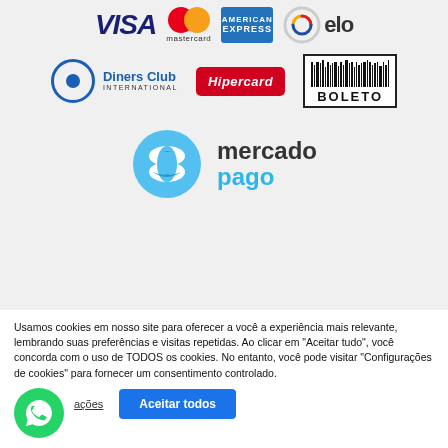[Figure (logo): Payment method logos: Visa, Mastercard, American Express, Elo, Diners Club International, Hipercard, Boleto, Mercado Pago]
Usamos cookies em nosso site para oferecer a você a experiência mais relevante, lembrando suas preferências e visitas repetidas. Ao clicar em "Aceitar tudo", você concorda com o uso de TODOS os cookies. No entanto, você pode visitar "Configurações de cookies" para fornecer um consentimento controlado.
[Figure (logo): WhatsApp chat bubble icon (green circle)]
ações
Aceitar todos